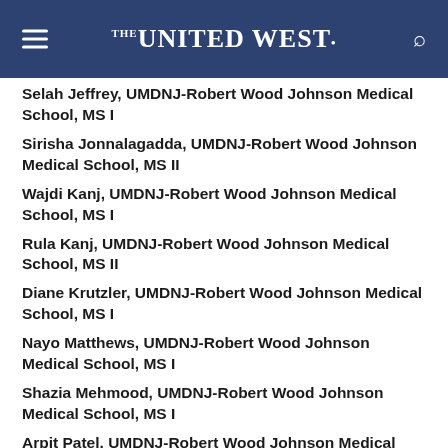THE UNITED WEST
Selah Jeffrey, UMDNJ-Robert Wood Johnson Medical School, MS I
Sirisha Jonnalagadda, UMDNJ-Robert Wood Johnson Medical School, MS II
Wajdi Kanj, UMDNJ-Robert Wood Johnson Medical School, MS I
Rula Kanj, UMDNJ-Robert Wood Johnson Medical School, MS II
Diane Krutzler, UMDNJ-Robert Wood Johnson Medical School, MS I
Nayo Matthews, UMDNJ-Robert Wood Johnson Medical School, MS I
Shazia Mehmood, UMDNJ-Robert Wood Johnson Medical School, MS I
Arpit Patel, UMDNJ-Robert Wood Johnson Medical School, MS I